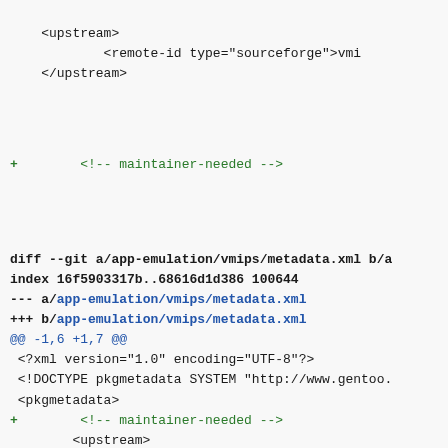<upstream>
            <remote-id type="sourceforge">vmi
    </upstream>
+ <!-- maintainer-needed -->
diff --git a/app-emulation/vmips/metadata.xml b/a
index 16f5903317b..68616d1d386 100644
--- a/app-emulation/vmips/metadata.xml
+++ b/app-emulation/vmips/metadata.xml
@@ -1,6 +1,7 @@
 <?xml version="1.0" encoding="UTF-8"?>
 <!DOCTYPE pkgmetadata SYSTEM "http://www.gentoo.
 <pkgmetadata>
+        <!-- maintainer-needed -->
        <upstream>
                <remote-id type="sourceforge">vmi
        </upstream>
diff --git a/app-eselect/eselect-audicle/metadata
index 097975e3adc..6f49eba8f49 100644
--- a/app-eselect/eselect-audicle/metadata.xml
+++ b/app-eselect/eselect-audicle/metadata.xml